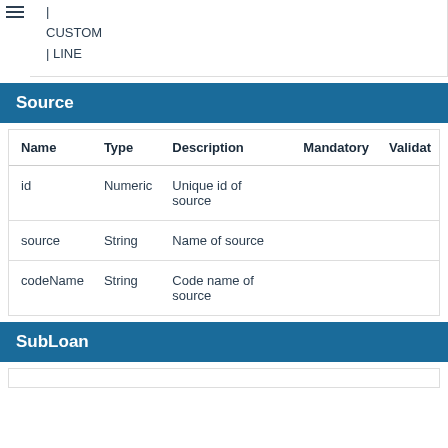| CUSTOM | LINE
Source
| Name | Type | Description | Mandatory | Validat |
| --- | --- | --- | --- | --- |
| id | Numeric | Unique id of source |  |  |
| source | String | Name of source |  |  |
| codeName | String | Code name of source |  |  |
SubLoan